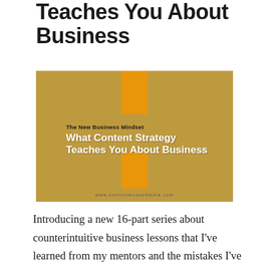Teaches You About Business
[Figure (illustration): Blog post featured image with golden/sepia toned background showing a person wearing a hat, with orange vertical rectangles at top and bottom center. Text overlay reads 'The New Business Mindset' and 'What Content Strategy Teaches You About Business'. URL: www.controlmoosemedia.com]
Introducing a new 16-part series about counterintuitive business lessons that I've learned from my mentors and the mistakes I've made. It turns out that the same nuances